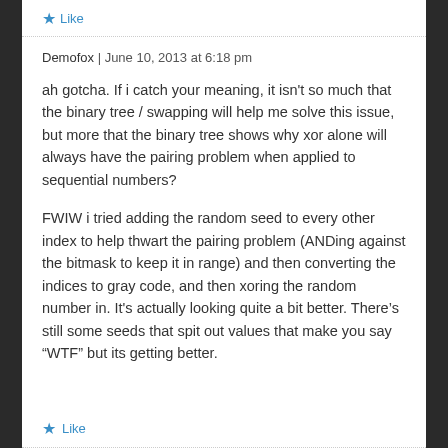Like
Demofox | June 10, 2013 at 6:18 pm
ah gotcha. If i catch your meaning, it isn't so much that the binary tree / swapping will help me solve this issue, but more that the binary tree shows why xor alone will always have the pairing problem when applied to sequential numbers?
FWIW i tried adding the random seed to every other index to help thwart the pairing problem (ANDing against the bitmask to keep it in range) and then converting the indices to gray code, and then xoring the random number in. It's actually looking quite a bit better. There's still some seeds that spit out values that make you say “WTF” but its getting better.
Like